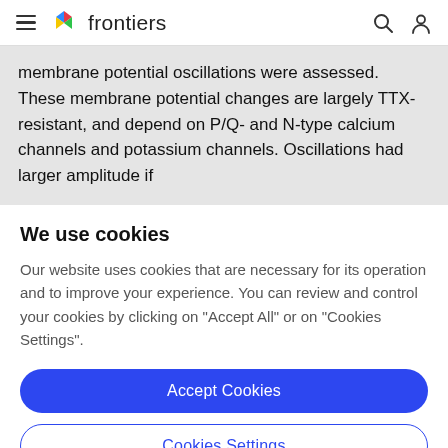frontiers
membrane potential oscillations were assessed. These membrane potential changes are largely TTX-resistant, and depend on P/Q- and N-type calcium channels and potassium channels. Oscillations had larger amplitude if
We use cookies
Our website uses cookies that are necessary for its operation and to improve your experience. You can review and control your cookies by clicking on "Accept All" or on "Cookies Settings".
Accept Cookies
Cookies Settings